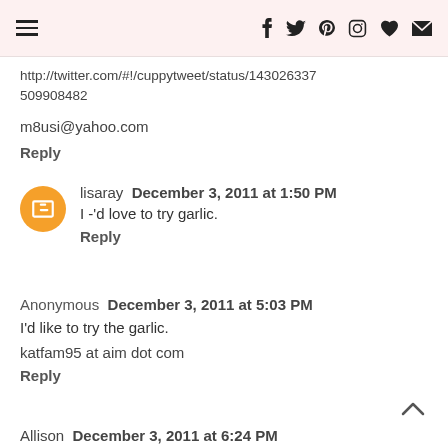Navigation bar with menu icon and social icons: f, twitter, pinterest, instagram, heart, envelope
http://twitter.com/#!/cuppytweet/status/143026337
509908482
m8usi@yahoo.com
Reply
lisaray  December 3, 2011 at 1:50 PM
I -'d love to try garlic.
Reply
Anonymous  December 3, 2011 at 5:03 PM
I'd like to try the garlic.
katfam95 at aim dot com
Reply
Allison  December 3, 2011 at 6:24 PM